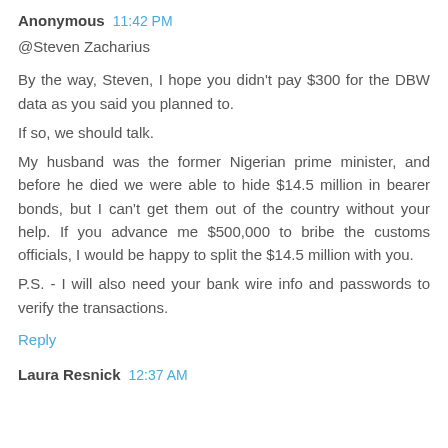Anonymous 11:42 PM
@Steven Zacharius
By the way, Steven, I hope you didn't pay $300 for the DBW data as you said you planned to.
If so, we should talk.
My husband was the former Nigerian prime minister, and before he died we were able to hide $14.5 million in bearer bonds, but I can't get them out of the country without your help. If you advance me $500,000 to bribe the customs officials, I would be happy to split the $14.5 million with you.
P.S. - I will also need your bank wire info and passwords to verify the transactions.
Reply
Laura Resnick 12:37 AM